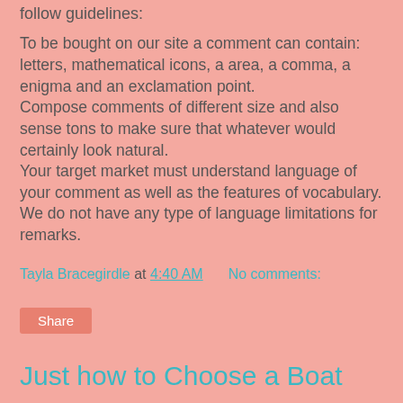follow guidelines:
To be bought on our site a comment can contain: letters, mathematical icons, a area, a comma, a enigma and an exclamation point.
Compose comments of different size and also sense tons to make sure that whatever would certainly look natural.
Your target market must understand language of your comment as well as the features of vocabulary. We do not have any type of language limitations for remarks.
Tayla Bracegirdle at 4:40 AM    No comments:
Share
Just how to Choose a Boat
A kayak permits you to get to beautiful beachside camping sites, silently discover an tidewater, enjoy breathtaking sights that can't be seen from coast, get in a early morning workout around the lake or simply play in the water with the